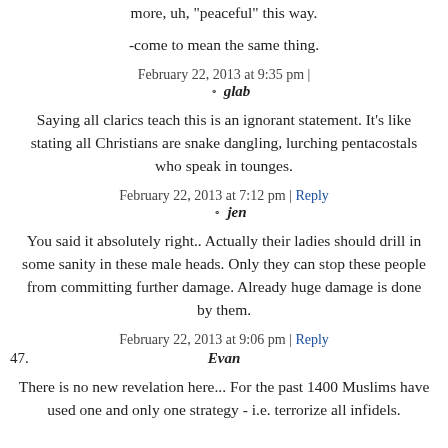more, uh, “peaceful” this way.
-come to mean the same thing.
February 22, 2013 at 9:35 pm |
glab
Saying all clarics teach this is an ignorant statement. It’s like stating all Christians are snake dangling, lurching pentacostals who speak in tounges.
February 22, 2013 at 7:12 pm | Reply
jen
You said it absolutely right.. Actually their ladies should drill in some sanity in these male heads. Only they can stop these people from committing further damage. Already huge damage is done by them.
February 22, 2013 at 9:06 pm | Reply
47. Evan
There is no new revelation here... For the past 1400 Muslims have used one and only one strategy - i.e. terrorize all infidels.